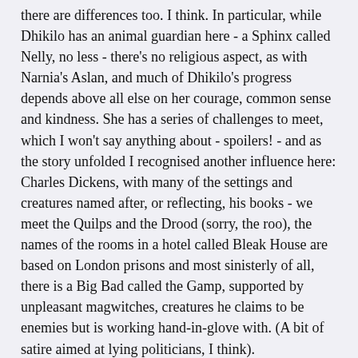there are differences too. I think. In particular, while Dhikilo has an animal guardian here - a Sphinx called Nelly, no less - there's no religious aspect, as with Narnia's Aslan, and much of Dhikilo's progress depends above all else on her courage, common sense and kindness. She has a series of challenges to meet, which I won't say anything about - spoilers! - and as the story unfolded I recognised another influence here: Charles Dickens, with many of the settings and creatures named after, or reflecting, his books - we meet the Quilps and the Drood (sorry, the roo), the names of the rooms in a hotel called Bleak House are based on London prisons and most sinisterly of all, there is a Big Bad called the Gamp, supported by unpleasant magwitches, creatures he claims to be enemies but is working hand-in-glove with. (A bit of satire aimed at lying politicians, I think).
Anyone reading this book who doesn't recognise these names (or some of the scenes and events) won't be puzzled of confused by the story, but if you know what they mean, it does add a little bit to your enjoyment, as will the details revealed towards the end about a certain Professor and his home.
This is, as I have said, above all an exciting, dangerous adventure with a resourceful and rising central character. The subtitle, "A Tal